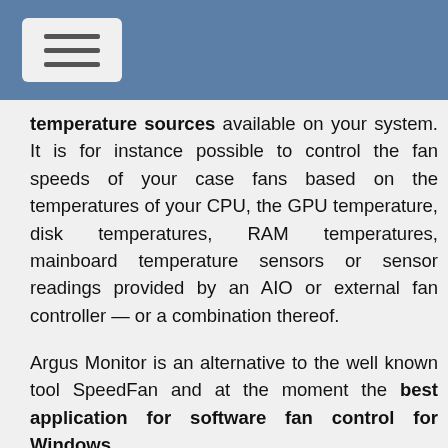temperature sources available on your system. It is for instance possible to control the fan speeds of your case fans based on the temperatures of your CPU, the GPU temperature, disk temperatures, RAM temperatures, mainboard temperature sensors or sensor readings provided by an AIO or external fan controller — or a combination thereof.
Argus Monitor is an alternative to the well known tool SpeedFan and at the moment the best application for software fan control for Windows.